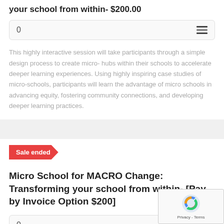your school from within- $200.00
0
This highly interactive session will take participants through a simple design process to create micro- hubs within their schools to accelerate deeper learning experiences. Using highly inspiring case studies of micro-schools, participants will learn the advantage of micro schools in advancing equity, fostering community connections, and developing deeper learning practices.
Sale ended
Micro School for MACRO Change: Transforming your school from within- [Pay by Invoice Option $200]
0
This highly interactive session will take participants through a simple design process to create micro- hubs within their schools